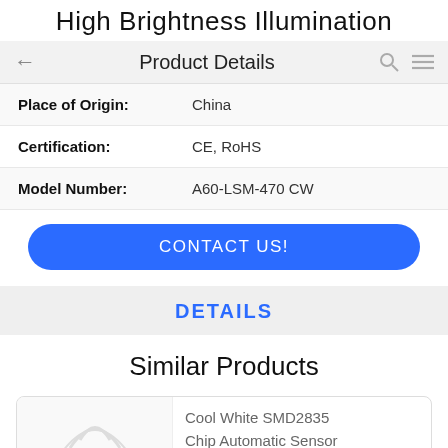High Brightness Illumination
Product Details
| Field | Value |
| --- | --- |
| Place of Origin: | China |
| Certification: | CE, RoHS |
| Model Number: | A60-LSM-470 CW |
CONTACT US!
DETAILS
Similar Products
Cool White SMD2835 Chip Automatic Sensor